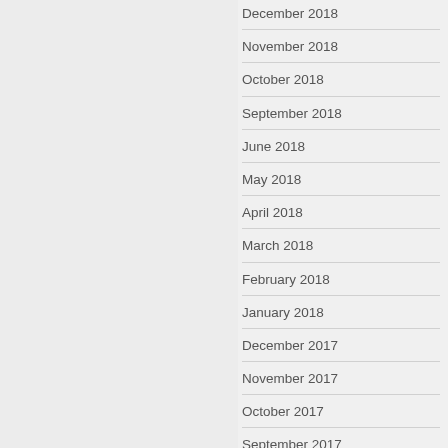December 2018
November 2018
October 2018
September 2018
June 2018
May 2018
April 2018
March 2018
February 2018
January 2018
December 2017
November 2017
October 2017
September 2017
June 2017